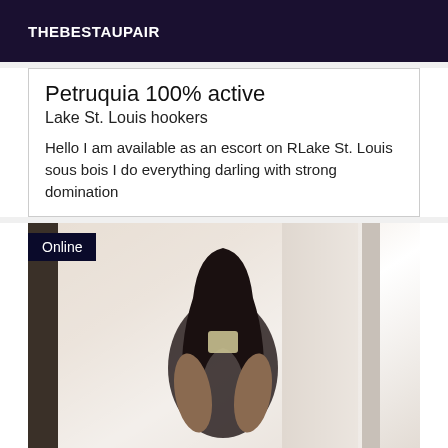THEBESTAUPAIR
Petruquia 100% active
Lake St. Louis hookers
Hello I am available as an escort on RLake St. Louis sous bois I do everything darling with strong domination
[Figure (photo): Mirror selfie of a young woman with long dark hair wearing a dark top, photographed in a bathroom mirror. An 'Online' badge appears in the top-left corner of the image.]